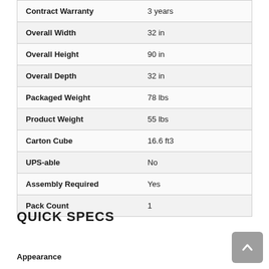| Attribute | Value |
| --- | --- |
| Contract Warranty | 3 years |
| Overall Width | 32 in |
| Overall Height | 90 in |
| Overall Depth | 32 in |
| Packaged Weight | 78 lbs |
| Product Weight | 55 lbs |
| Carton Cube | 16.6 ft3 |
| UPS-able | No |
| Assembly Required | Yes |
| Pack Count | 1 |
QUICK SPECS
Appearance